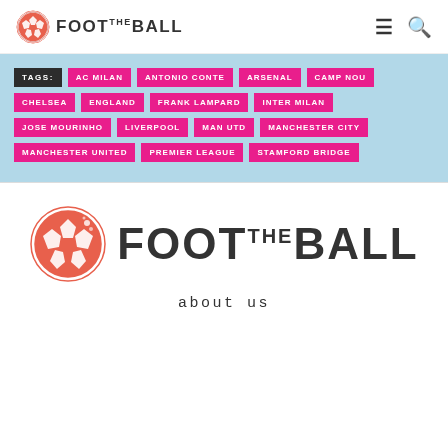FOOT THE BALL [logo] [menu] [search]
TAGS: AC MILAN  ANTONIO CONTE  ARSENAL  CAMP NOU  CHELSEA  ENGLAND  FRANK LAMPARD  INTER MILAN  JOSE MOURINHO  LIVERPOOL  MAN UTD  MANCHESTER CITY  MANCHESTER UNITED  PREMIER LEAGUE  STAMFORD BRIDGE
[Figure (logo): FootTheBall large footer logo with soccer ball icon in coral/orange and dark text]
about us